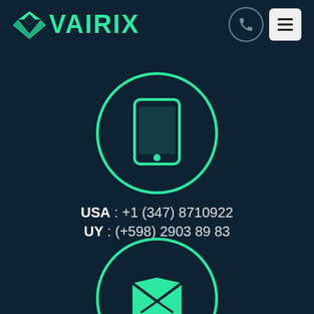VAIRIX
[Figure (illustration): Smartphone icon inside a teal circle outline]
USA : +1 (347) 8710922
UY : (+598) 2903 89 83
[Figure (illustration): Open envelope / mail icon inside a teal circle outline]